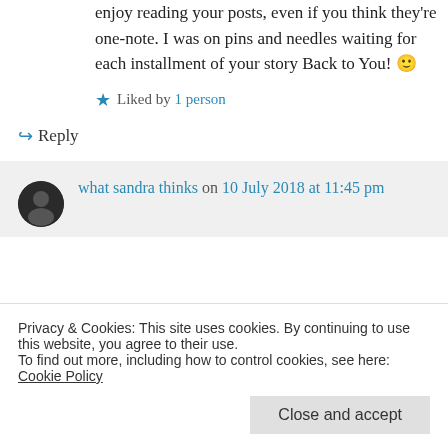enjoy reading your posts, even if you think they're one-note. I was on pins and needles waiting for each installment of your story Back to You! 🙂
★ Liked by 1 person
↪ Reply
what sandra thinks on 10 July 2018 at 11:45 pm
Privacy & Cookies: This site uses cookies. By continuing to use this website, you agree to their use.
To find out more, including how to control cookies, see here: Cookie Policy
Close and accept